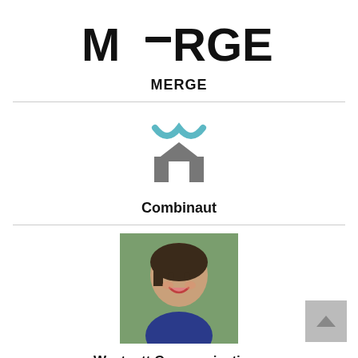[Figure (logo): MERGE logo with stylized M-dash-RGE text in bold black lettering]
MERGE
[Figure (logo): Combinaut logo: teal curved chevron shape above a grey geometric building/house icon]
Combinaut
[Figure (photo): Headshot photo of a woman with short dark brown hair, smiling, wearing a blue top, outdoors with green background]
Westcott Communications
[Figure (illustration): Grey scroll-to-top button with upward triangle arrow]